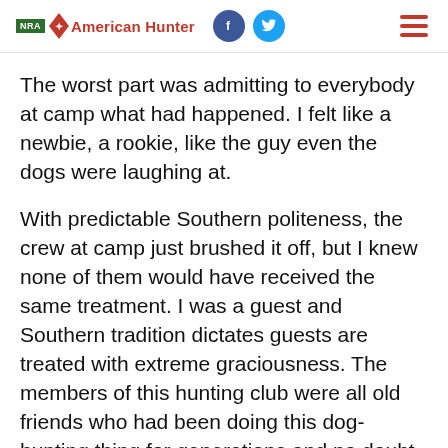NRA American Hunter
The worst part was admitting to everybody at camp what had happened. I felt like a newbie, a rookie, like the guy even the dogs were laughing at.
With predictable Southern politeness, the crew at camp just brushed it off, but I knew none of them would have received the same treatment. I was a guest and Southern tradition dictates guests are treated with extreme graciousness. The members of this hunting club were all old friends who had been doing this dog-hunting thing for generations and no doubt would have been relentless on one of their own. That's the same in deer camps any place in the country. If you mess up, your buddies will harass you